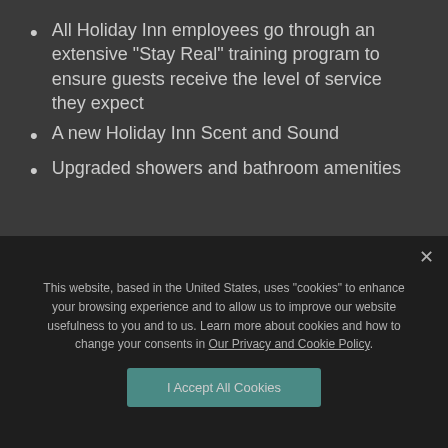All Holiday Inn employees go through an extensive "Stay Real" training program to ensure guests receive the level of service they expect
A new Holiday Inn Scent and Sound
Upgraded showers and bathroom amenities
This website, based in the United States, uses "cookies" to enhance your browsing experience and to allow us to improve our website usefulness to you and to us. Learn more about cookies and how to change your consents in Our Privacy and Cookie Policy.
I Accept All Cookies